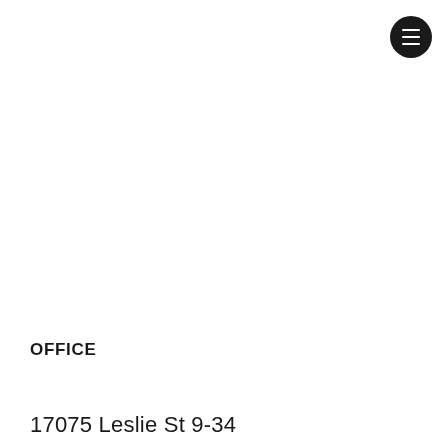[Figure (other): Hamburger menu button — black circle with three horizontal white lines]
OFFICE
17075 Leslie St 9-34